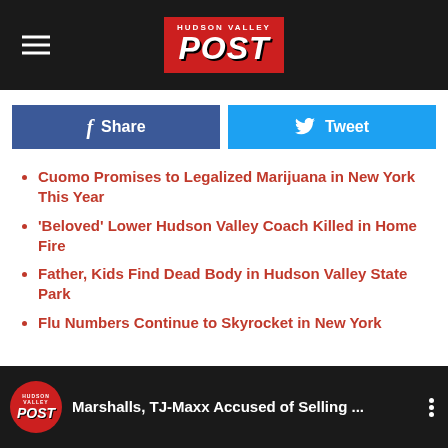Hudson Valley POST
Cuomo Promises to Legalized Marijuana in New York This Year
'Beloved' Lower Hudson Valley Coach Killed in Home Fire
Father, Kids Find Dead Body in Hudson Valley State Park
Flu Numbers Continue to Skyrocket in New York
BONUS VIDEO
Marshalls, TJ-Maxx Accused of Selling ...